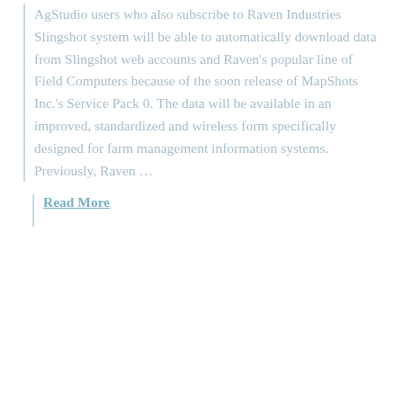AgStudio users who also subscribe to Raven Industries Slingshot system will be able to automatically download data from Slingshot web accounts and Raven's popular line of Field Computers because of the soon release of MapShots Inc.'s Service Pack 0. The data will be available in an improved, standardized and wireless form specifically designed for farm management information systems. Previously, Raven …
Read More